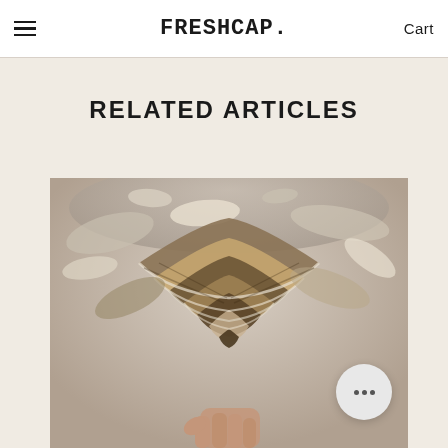FreshCap | Cart
RELATED ARTICLES
[Figure (photo): Close-up photograph of turkey tail mushrooms being held by a hand, showing their distinctive fan-shaped, concentrically banded brown and white caps, with a bowl of more mushrooms visible in the background.]